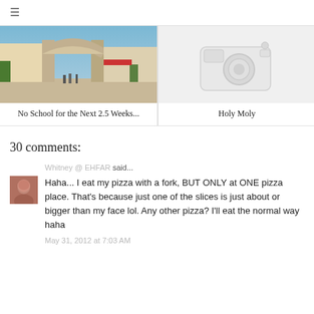≡
[Figure (photo): Photo of a European street scene with a stone arch, buildings, and outdoor cafe seating under a blue sky]
[Figure (photo): Light grey illustration of a compact camera on a white background]
No School for the Next 2.5 Weeks...
Holy Moly
30 comments:
Whitney @ EHFAR said...
Haha... I eat my pizza with a fork, BUT ONLY at ONE pizza place. That's because just one of the slices is just about or bigger than my face lol. Any other pizza? I'll eat the normal way haha
May 31, 2012 at 7:03 AM